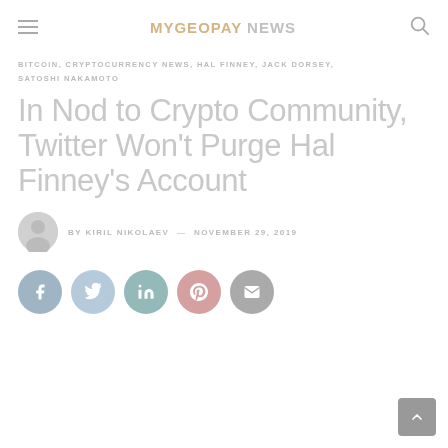MYGEOPAY NEWS
BITCOIN, CRYPTOCURRENCY NEWS, HAL FINNEY, JACK DORSEY, SATOSHI NAKAMOTO
In Nod to Crypto Community, Twitter Won't Purge Hal Finney's Account
BY KIRIL NIKOLAEV — NOVEMBER 29, 2019
[Figure (other): Social sharing buttons: Facebook, Twitter, LinkedIn, Pinterest, Email]